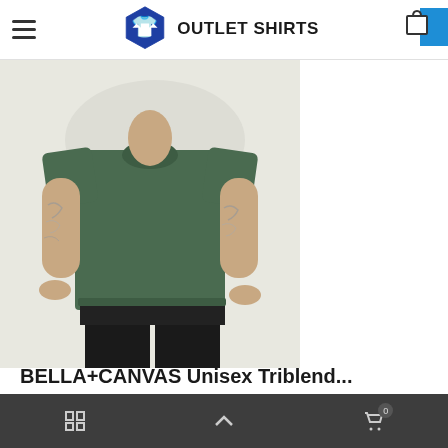OUTLET SHIRTS
[Figure (photo): Man wearing a dark green/olive Bella+Canvas unisex triblend t-shirt with black pants, tattoos visible on arms, cropped at chest level]
BELLA+CANVAS Unisex Triblend...
Bella + Canvas
$10.41
★★★★★ 2 Reviews
BC3413
Grid | Up | Cart 0